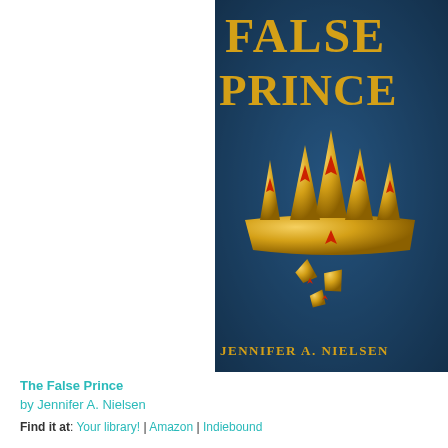[Figure (illustration): Book cover of 'The False Prince' by Jennifer A. Nielsen showing a broken golden crown with red gems on a dark blue textured background. The title 'FALSE PRINCE' appears at the top in golden letters, and the author name 'JENNIFER A. NIELSEN' appears at the bottom in gold capital letters.]
The False Prince
by Jennifer A. Nielsen
Find it at: Your library! | Amazon | Indiebound